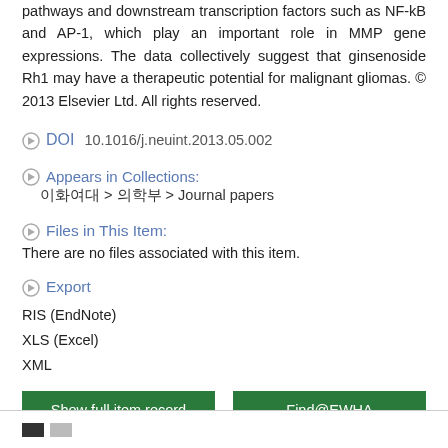pathways and downstream transcription factors such as NF-kB and AP-1, which play an important role in MMP gene expressions. The data collectively suggest that ginsenoside Rh1 may have a therapeutic potential for malignant gliomas. © 2013 Elsevier Ltd. All rights reserved.
DOI   10.1016/j.neuint.2013.05.002
Appears in Collections:   [Korean characters] > [Korean characters] > Journal papers
Files in This Item:
There are no files associated with this item.
Export
RIS (EndNote)
XLS (Excel)
XML
Show full item record   Find@EWHA